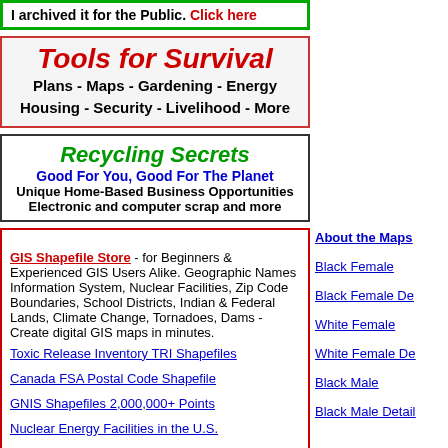[Figure (screenshot): Banner: 'I archived it for the Public. Click here' with green border]
[Figure (screenshot): Tools for Survival ad banner: 'Plans - Maps - Gardening - Energy Housing - Security - Livelihood - More']
[Figure (screenshot): Recycling Secrets banner: 'Good For You, Good For The Planet - Unique Home-Based Business Opportunities - Electronic and computer scrap and more']
GIS Shapefile Store - for Beginners & Experienced GIS Users Alike. Geographic Names Information System, Nuclear Facilities, Zip Code Boundaries, School Districts, Indian & Federal Lands, Climate Change, Tornadoes, Dams - Create digital GIS maps in minutes.
Toxic Release Inventory TRI Shapefiles
Canada FSA Postal Code Shapefile
GNIS Shapefiles 2,000,000+ Points
Nuclear Energy Facilities in the U.S.
About the Maps
Black Female
Black Female De
White Female
White Female De
Black Male
Black Male Detail